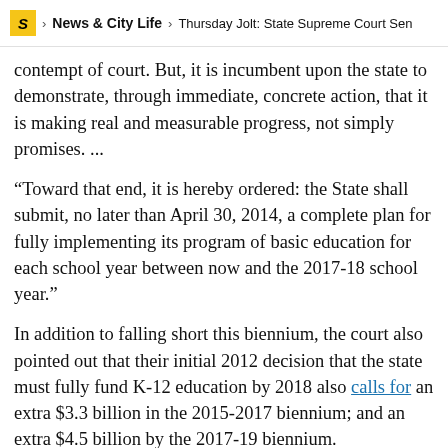S > News & City Life > Thursday Jolt: State Supreme Court Sen
contempt of court. But, it is incumbent upon the state to demonstrate, through immediate, concrete action, that it is making real and measurable progress, not simply promises. ...
“Toward that end, it is hereby ordered: the State shall submit, no later than April 30, 2014, a complete plan for fully implementing its program of basic education for each school year between now and the 2017-18 school year.”
In addition to falling short this biennium, the court also pointed out that their initial 2012 decision that the state must fully fund K-12 education by 2018 also calls for an extra $3.3 billion in the 2015-2017 biennium; and an extra $4.5 billion by the 2017-19 biennium.
ADVERTISEMENT - STORY CONTINUES BELOW
SPONSORED